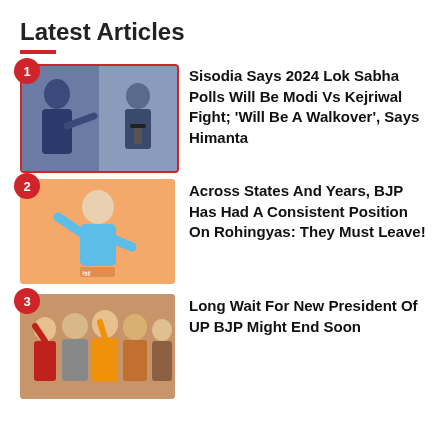Latest Articles
Sisodia Says 2024 Lok Sabha Polls Will Be Modi Vs Kejriwal Fight; 'Will Be A Walkover', Says Himanta
Across States And Years, BJP Has Had A Consistent Position On Rohingyas: They Must Leave!
Long Wait For New President Of UP BJP Might End Soon